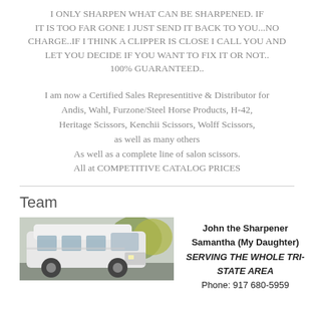I ONLY SHARPEN WHAT CAN BE SHARPENED. IF IT IS TOO FAR GONE I JUST SEND IT BACK TO YOU...NO CHARGE..IF I THINK A CLIPPER IS CLOSE I CALL YOU AND LET YOU DECIDE IF YOU WANT TO FIX IT OR NOT.. 100% GUARANTEED..
I am now a Certified Sales Representitive & Distributor for Andis, Wahl, Furzone/Steel Horse Products, H-42, Heritage Scissors, Kenchii Scissors, Wolff Scissors, as well as many others As well as a complete line of salon scissors. All at COMPETITIVE CATALOG PRICES
Team
[Figure (photo): A white bus or large van vehicle parked outdoors with trees in background]
John the Sharpener
Samantha (My Daughter)
SERVING THE WHOLE TRI-STATE AREA
Phone: 917 680-5959